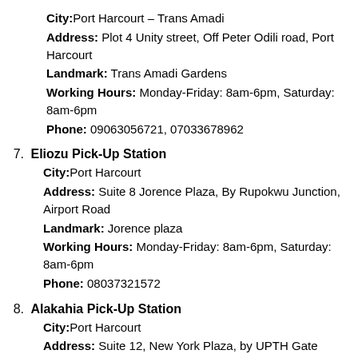City: Port Harcourt – Trans Amadi
Address: Plot 4 Unity street, Off Peter Odili road, Port Harcourt
Landmark: Trans Amadi Gardens
Working Hours: Monday-Friday: 8am-6pm, Saturday: 8am-6pm
Phone: 09063056721, 07033678962
7. Eliozu Pick-Up Station
City: Port Harcourt
Address: Suite 8 Jorence Plaza, By Rupokwu Junction, Airport Road
Landmark: Jorence plaza
Working Hours: Monday-Friday: 8am-6pm, Saturday: 8am-6pm
Phone: 08037321572
8. Alakahia Pick-Up Station
City: Port Harcourt
Address: Suite 12, New York Plaza, by UPTH Gate
Landmark: UPTH Gate